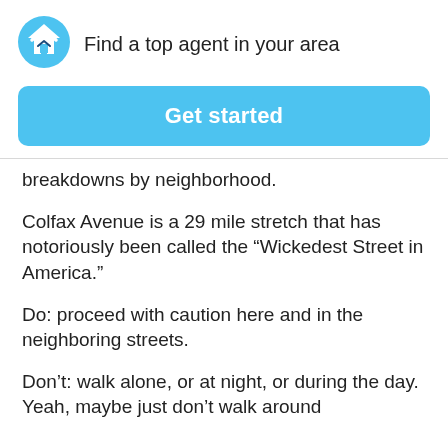[Figure (logo): HomeLight logo: circular blue icon with a white chevron/house symbol]
Find a top agent in your area
Get started
breakdowns by neighborhood.
Colfax Avenue is a 29 mile stretch that has notoriously been called the “Wickedest Street in America.”
Do: proceed with caution here and in the neighboring streets.
Don’t: walk alone, or at night, or during the day. Yeah, maybe just don’t walk around